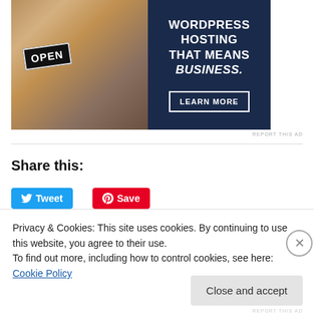[Figure (photo): WordPress hosting advertisement banner with a woman holding an OPEN sign on the left, and dark navy blue panel on the right with text WORDPRESS HOSTING THAT MEANS BUSINESS. and a LEARN MORE button]
REPORT THIS AD
Share this:
Tweet
Save
Privacy & Cookies: This site uses cookies. By continuing to use this website, you agree to their use.
To find out more, including how to control cookies, see here: Cookie Policy
Close and accept